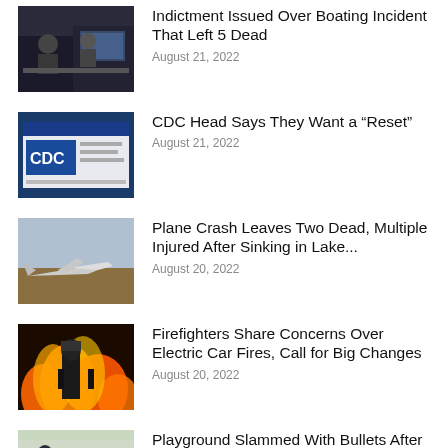[Figure (photo): People working at computers in an office setting]
Indictment Issued Over Boating Incident That Left 5 Dead
August 21, 2022
[Figure (photo): CDC website displayed on a screen]
CDC Head Says They Want a “Reset”
August 21, 2022
[Figure (photo): Crashed airplane in a field]
Plane Crash Leaves Two Dead, Multiple Injured After Sinking in Lake...
August 20, 2022
[Figure (photo): Firefighter standing in front of large flames]
Firefighters Share Concerns Over Electric Car Fires, Call for Big Changes
August 20, 2022
[Figure (photo): People standing on a street near a playground]
Playground Slammed With Bullets After Gunmen Open Fire